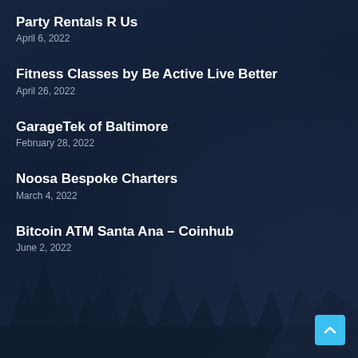Party Rentals R Us
April 6, 2022
Fitness Classes by Be Active Live Better
April 26, 2022
GarageTek of Baltimore
February 28, 2022
Noosa Bespoke Charters
March 4, 2022
Bitcoin ATM Santa Ana – Coinhub
June 2, 2022